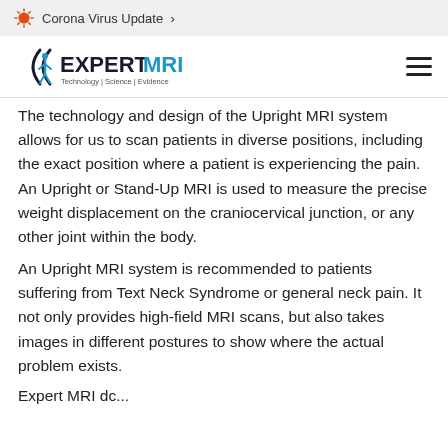Corona Virus Update >
[Figure (logo): ExpertMRI logo with tagline Technology | Science | Evidence, with stylized figure icon and hamburger menu icon]
The technology and design of the Upright MRI system allows for us to scan patients in diverse positions, including the exact position where a patient is experiencing the pain. An Upright or Stand-Up MRI is used to measure the precise weight displacement on the craniocervical junction, or any other joint within the body.
An Upright MRI system is recommended to patients suffering from Text Neck Syndrome or general neck pain. It not only provides high-field MRI scans, but also takes images in different postures to show where the actual problem exists.
Expert MRI dc...